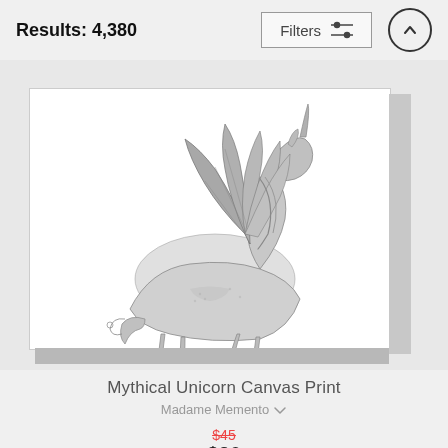Results: 4,380
Filters
[Figure (photo): Mythical winged unicorn (alicorn) canvas print mockup showing a detailed black and white engraving-style illustration of a horned horse with large wings, displayed on a stretched canvas with visible side depth.]
Mythical Unicorn Canvas Print
Madame Memento
$45
$36